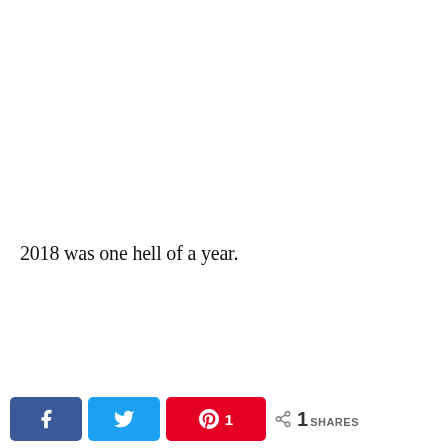2018 was one hell of a year.
[Figure (other): Social share bar with Facebook (blue), Twitter (light blue), Pinterest (red with count 1) buttons, and a share count showing 1 SHARES]